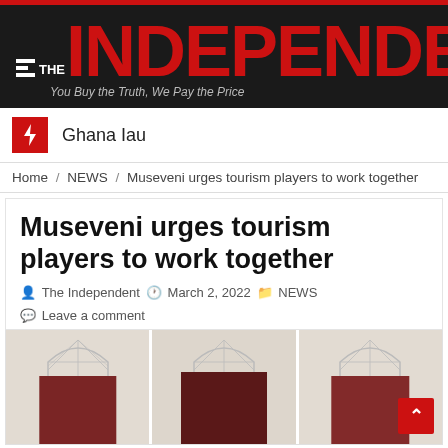THE INDEPENDENT — You Buy the Truth, We Pay the Price
Ghana Iau
Home / NEWS / Museveni urges tourism players to work together
Museveni urges tourism players to work together
The Independent   March 2, 2022   NEWS   Leave a comment
[Figure (photo): Photograph of a building facade with arched windows and dark red/maroon doors, shown in three panels side by side]